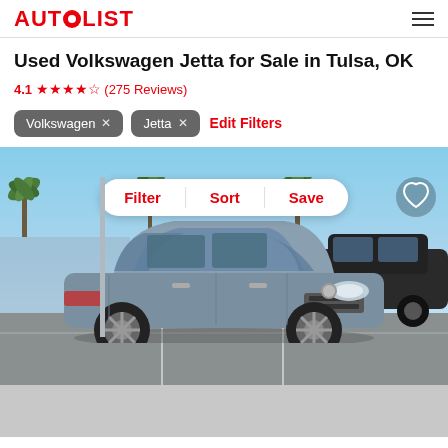AUTOLIST
Used Volkswagen Jetta for Sale in Tulsa, OK
4.1 ★★★★☆ (275 Reviews)
Volkswagen ×
Jetta ×
Edit Filters
[Figure (photo): A grey Volkswagen Jetta sedan photographed in a sunny parking lot with palm trees and blue sky in the background. Overlaid buttons for Filter, Sort, Save and a heart icon are visible.]